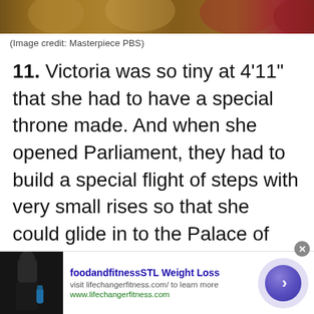[Figure (photo): Top portion of an image showing people in period costumes, partially cropped at the top of the page]
(Image credit: Masterpiece PBS)
11. Victoria was so tiny at 4'11" that she had to have a special throne made. And when she opened Parliament, they had to build a special flight of steps with very small rises so that she could glide in to the Palace of Westminster.
[Figure (infographic): Advertisement banner: foodandfitnessSTL Weight Loss — visit lifechangerfitness.com/ to learn more — www.lifechangerfitness.com, with a photo of a person holding a water bottle, and a circular arrow navigation button]